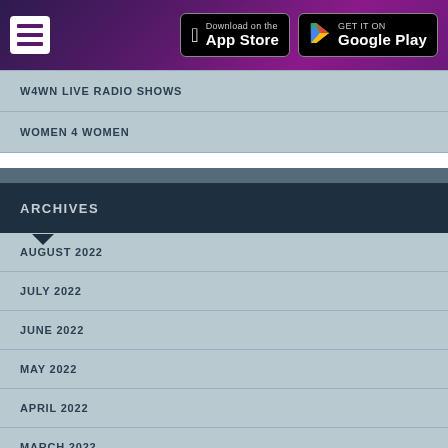W4WN Radio - Download on the App Store / GET IT ON Google Play
W4WN LIVE RADIO SHOWS
WOMEN 4 WOMEN
ARCHIVES
AUGUST 2022
JULY 2022
JUNE 2022
MAY 2022
APRIL 2022
MARCH 2022